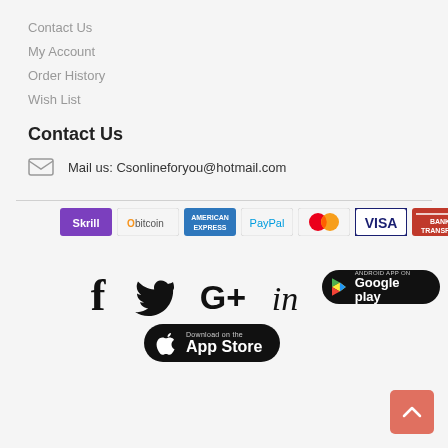Contact Us
My Account
Order History
Wish List
Contact Us
Mail us: Csonlineforyou@hotmail.com
[Figure (logo): Payment method logos: Skrill, Obitcoin, American Express, PayPal, MasterCard, VISA, Bank Transfer]
[Figure (logo): Social media icons: Facebook, Twitter, Google+, LinkedIn, and app store buttons: Android App on Google Play, Download on the App Store]